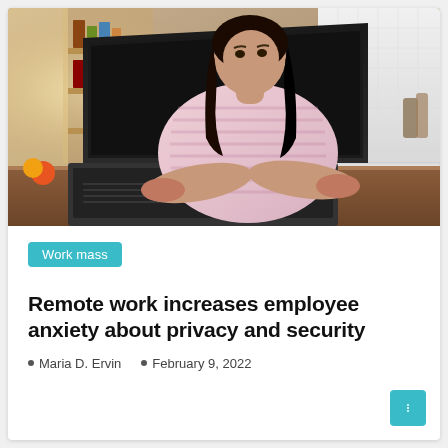[Figure (photo): Woman with dark hair wearing a pink and white striped top, typing on a laptop at a wooden table in a bright home kitchen/living area with shelves and windows in the background.]
Work mass
Remote work increases employee anxiety about privacy and security
Maria D. Ervin   February 9, 2022